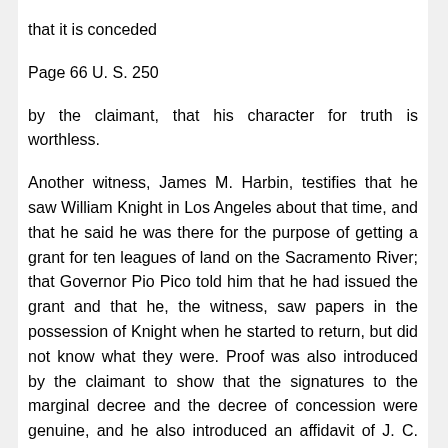that it is conceded
Page 66 U. S. 250
by the claimant, that his character for truth is worthless.
Another witness, James M. Harbin, testifies that he saw William Knight in Los Angeles about that time, and that he said he was there for the purpose of getting a grant for ten leagues of land on the Sacramento River; that Governor Pio Pico told him that he had issued the grant and that he, the witness, saw papers in the possession of Knight when he started to return, but did not know what they were. Proof was also introduced by the claimant to show that the signatures to the marginal decree and the decree of concession were genuine, and he also introduced an affidavit of J. C. Davis in which the affiant states that on the 5th day of June, 1846, he heard Knight say, in the camp of Colonel Fremont, that he had